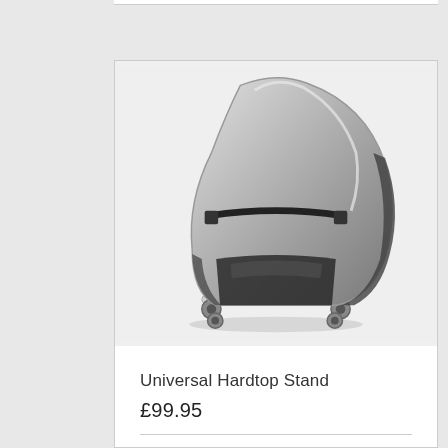[Figure (photo): A Universal Hardtop Stand shown from slightly above angle. The stand is a silver/chrome metal frame on wheels (casters), holding a large silver/grey car hardtop roof secured with a black strap. The stand has a rectangular frame with four caster wheels at the base.]
Universal Hardtop Stand
£99.95
View Product